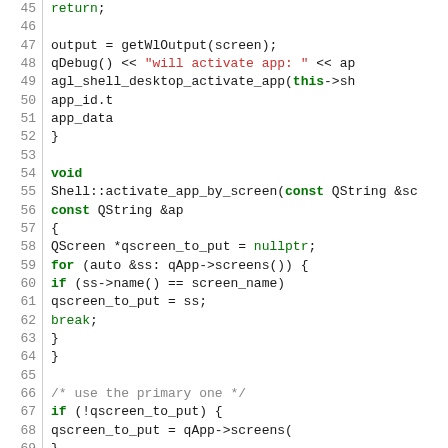[Figure (screenshot): Source code listing in C++ showing lines 45-75 of a shell activation function, with line numbers on the left, monospace font, and syntax highlighting (keywords in green bold, strings in red).]